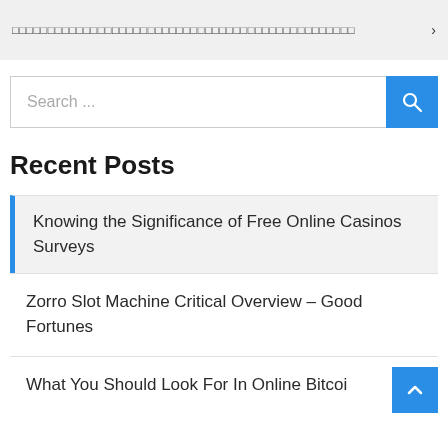□□□□□□□□□□□□□□□□□□□□□□□□□□□□□□□□□□□□□□□□□□□□□□□□ >
Search ...
Recent Posts
Knowing the Significance of Free Online Casinos Surveys
Zorro Slot Machine Critical Overview – Good Fortunes
What You Should Look For In Online Bitcoi…